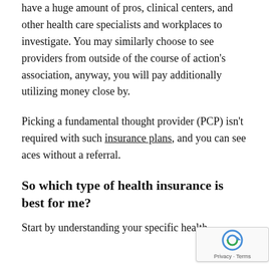have a huge amount of pros, clinical centers, and other health care specialists and workplaces to investigate. You may similarly choose to see providers from outside of the course of action's association, anyway, you will pay additionally utilizing money close by.
Picking a fundamental thought provider (PCP) isn't required with such insurance plans, and you can see aces without a referral.
So which type of health insurance is best for me?
Start by understanding your specific health